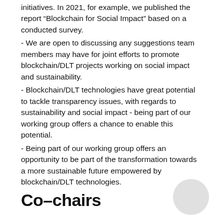initiatives. In 2021, for example, we published the report “Blockchain for Social Impact” based on a conducted survey.
- We are open to discussing any suggestions team members may have for joint efforts to promote blockchain/DLT projects working on social impact and sustainability.
- Blockchain/DLT technologies have great potential to tackle transparency issues, with regards to sustainability and social impact - being part of our working group offers a chance to enable this potential.
- Being part of our working group offers an opportunity to be part of the transformation towards a more sustainable future empowered by blockchain/DLT technologies.
Co-chairs
[Figure (other): Light grey circular shape in bottom right corner]